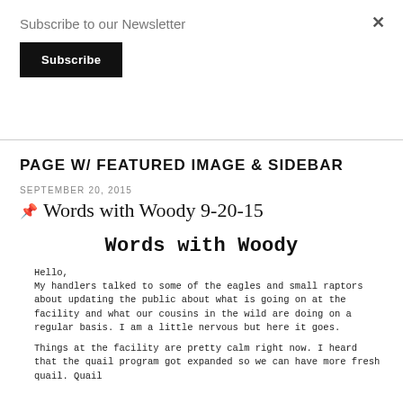Subscribe to our Newsletter
Subscribe
PAGE W/ FEATURED IMAGE & SIDEBAR
SEPTEMBER 20, 2015
📌 Words with Woody 9-20-15
Words with Woody
Hello,
My handlers talked to some of the eagles and small raptors about updating the public about what is going on at the facility and what our cousins in the wild are doing on a regular basis. I am a little nervous but here it goes.

Things at the facility are pretty calm right now. I heard that the quail program got expanded so we can have more fresh quail. Quail